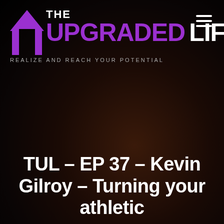[Figure (logo): The Upgraded Life logo with purple arrow icon, purple UPGRADED and white LIFE text, tagline REALIZE AND REACH YOUR POTENTIAL]
[Figure (other): Hamburger menu icon (three white horizontal lines) in top right corner]
TUL – EP 37 – Kevin Gilroy – Turning your athletic